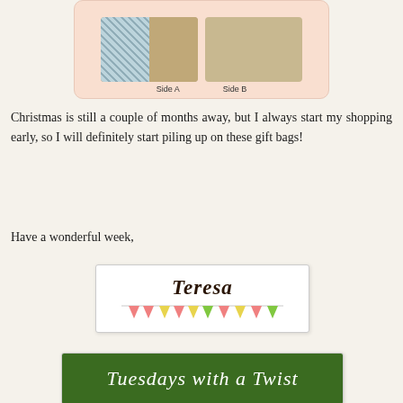[Figure (photo): A card/panel with peach/salmon rounded background showing two photos of fabric gift bags side by side, labeled 'Side A' and 'Side B']
Christmas is still a couple of months away, but I always start my shopping early, so I will definitely start piling up on these gift bags!
Have a wonderful week,
[Figure (illustration): Signature card showing the name 'Teresa' in cursive script above colorful bunting/pennant flags in pink, yellow, and green]
[Figure (photo): Partial view of a blog logo/header card with green foliage background, showing cursive text beginning with 'Tuesdays with a Twist']